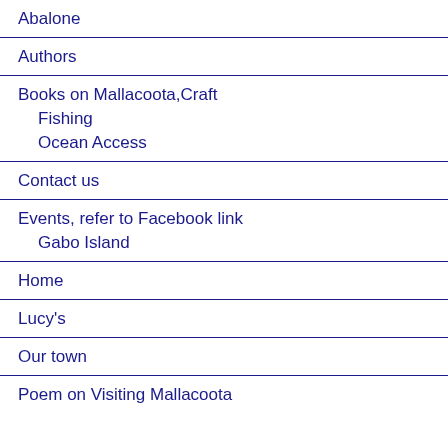Abalone
Authors
Books on Mallacoota,Craft
Fishing
Ocean Access
Contact us
Events, refer to Facebook link
Gabo Island
Home
Lucy's
Our town
Poem on Visiting Mallacoota